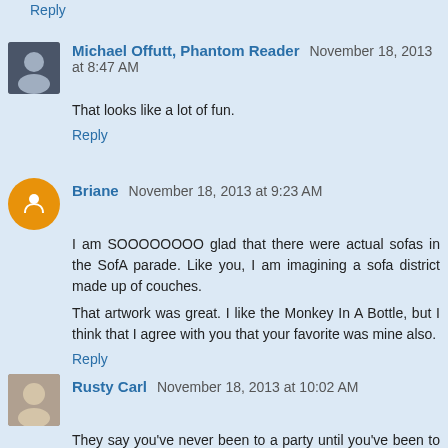Reply
Michael Offutt, Phantom Reader  November 18, 2013 at 8:47 AM
That looks like a lot of fun.
Reply
Briane  November 18, 2013 at 9:23 AM
I am SOOOOOOOO glad that there were actual sofas in the SofA parade. Like you, I am imagining a sofa district made up of couches.
That artwork was great. I like the Monkey In A Bottle, but I think that I agree with you that your favorite was mine also.
Reply
Rusty Carl  November 18, 2013 at 10:02 AM
They say you've never been to a party until you've been to a sofa